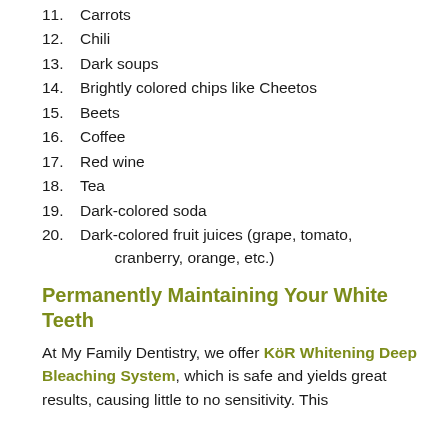11. Carrots
12. Chili
13. Dark soups
14. Brightly colored chips like Cheetos
15. Beets
16. Coffee
17. Red wine
18. Tea
19. Dark-colored soda
20. Dark-colored fruit juices (grape, tomato, cranberry, orange, etc.)
Permanently Maintaining Your White Teeth
At My Family Dentistry, we offer KöR Whitening Deep Bleaching System, which is safe and yields great results, causing little to no sensitivity. This